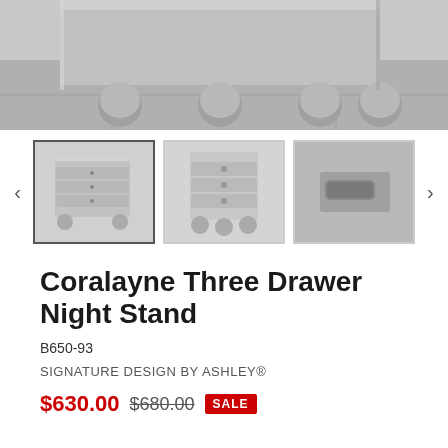[Figure (photo): Close-up photo of a silver/champagne metallic nightstand with bun feet and decorative trim, showing the bottom portion of the furniture piece on a tiled floor]
[Figure (photo): Three thumbnail images of the Coralayne Three Drawer Night Stand: (1) angled view showing drawers and bun feet, (2) front view with three drawers, (3) close-up detail of drawer hardware]
Coralayne Three Drawer Night Stand
B650-93
SIGNATURE DESIGN BY ASHLEY®
$630.00 $680.00 SALE